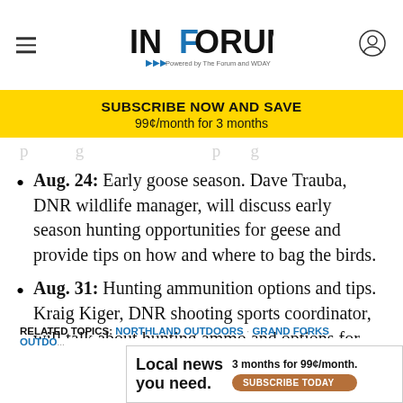INFORUM — Powered by The Forum and WDAY
[Figure (other): Yellow subscription banner: SUBSCRIBE NOW AND SAVE 99¢/month for 3 months]
Aug. 24: Early goose season. Dave Trauba, DNR wildlife manager, will discuss early season hunting opportunities for geese and provide tips on how and where to bag the birds.
Aug. 31: Hunting ammunition options and tips. Kraig Kiger, DNR shooting sports coordinator, will talk about hunting ammo and options for different game, lead alternatives and other tips to consider when buying ammunition.
RELATED TOPICS: NORTHLAND OUTDOORS · GRAND FORKS OUTDOORS
[Figure (other): Bottom advertisement: Local news you need. 3 months for 99¢/month. SUBSCRIBE TODAY]